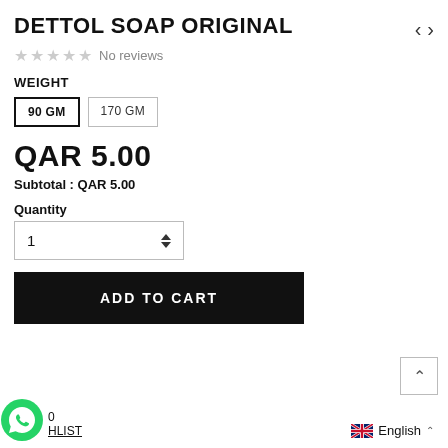DETTOL SOAP ORIGINAL
No reviews
WEIGHT
90 GM  170 GM
QAR 5.00
Subtotal :  QAR 5.00
Quantity
1
ADD TO CART
WISHLIST
English